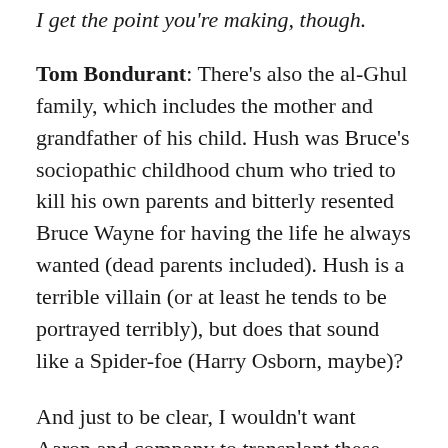I get the point you're making, though.
Tom Bondurant: There's also the al-Ghul family, which includes the mother and grandfather of his child. Hush was Bruce's sociopathic childhood chum who tried to kill his own parents and bitterly resented Bruce Wayne for having the life he always wanted (dead parents included). Hush is a terrible villain (or at least he tends to be portrayed terribly), but does that sound like a Spider-foe (Harry Osborn, maybe)?
And just to be clear, I wouldn't want Aaron and company to transplant these plots into the actual Bat-books. I'm just saying that these came closest to the source material — albeit